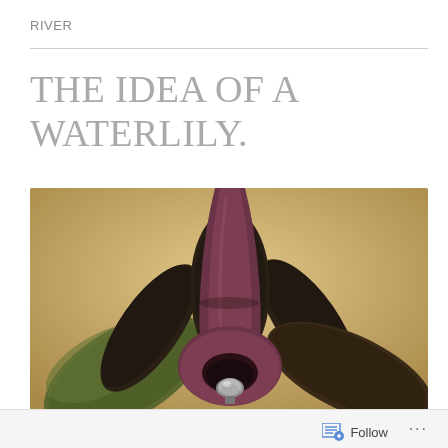RIVER
THE IDEA OF A WATERLILY.
[Figure (photo): An artistic sculpture resembling a waterlily or flower, made from dark fabric petals with a burgundy/maroon felted gourd-shaped center form containing a light bulb, set against a warm tan/beige background.]
JUNE 8, 2014
Follow ...